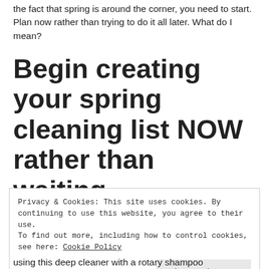the fact that spring is around the corner, you need to start. Plan now rather than trying to do it all later. What do I mean?
Begin creating your spring cleaning list NOW rather than waiting.
Privacy & Cookies: This site uses cookies. By continuing to use this website, you agree to their use.
To find out more, including how to control cookies, see here: Cookie Policy
Close and accept
using this deep cleaner with a rotary shampoo